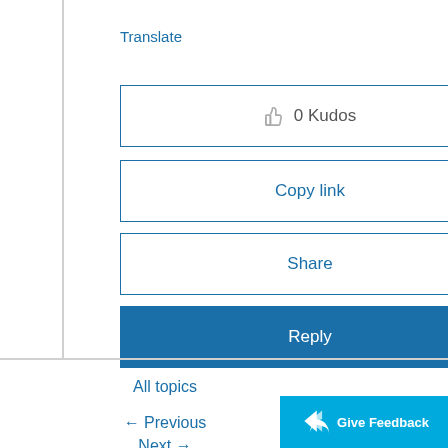Translate
0 Kudos
Copy link
Share
Reply
All topics
← Previous
Next →
Give Feedback